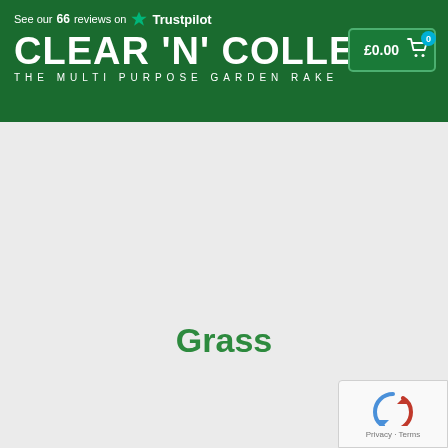See our 66 reviews on Trustpilot | CLEAR 'N' COLLECT | THE MULTI PURPOSE GARDEN RAKE | £0.00 cart
Grass